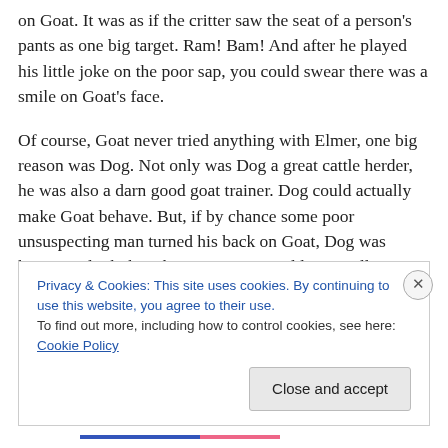on Goat. It was as if the critter saw the seat of a person's pants as one big target. Ram! Bam! And after he played his little joke on the poor sap, you could swear there was a smile on Goat's face.
Of course, Goat never tried anything with Elmer, one big reason was Dog. Not only was Dog a great cattle herder, he was also a darn good goat trainer. Dog could actually make Goat behave. But, if by chance some poor unsuspecting man turned his back on Goat, Dog was known to look the other way. Dog would never allow Goat
Privacy & Cookies: This site uses cookies. By continuing to use this website, you agree to their use.
To find out more, including how to control cookies, see here: Cookie Policy